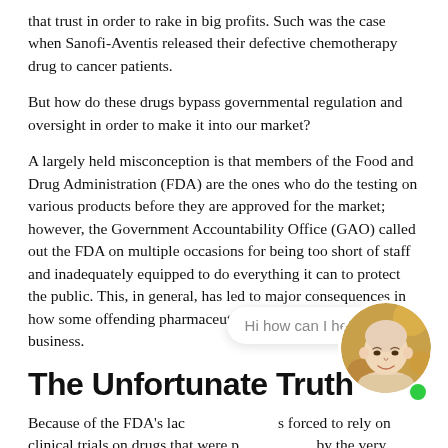that trust in order to rake in big profits. Such was the case when Sanofi-Aventis released their defective chemotherapy drug to cancer patients.
But how do these drugs bypass governmental regulation and oversight in order to make it into our market?
A largely held misconception is that members of the Food and Drug Administration (FDA) are the ones who do the testing on various products before they are approved for the market; however, the Government Accountability Office (GAO) called out the FDA on multiple occasions for being too short of staff and inadequately equipped to do everything it can to protect the public. This, in general, has led to major consequences in how some offending pharmaceutical companies run their business.
The Unfortunate Truth
Because of the FDA's lac... s forced to rely on clinical trials on drugs that were p... by the very manufacturers who are trying to sell the product in